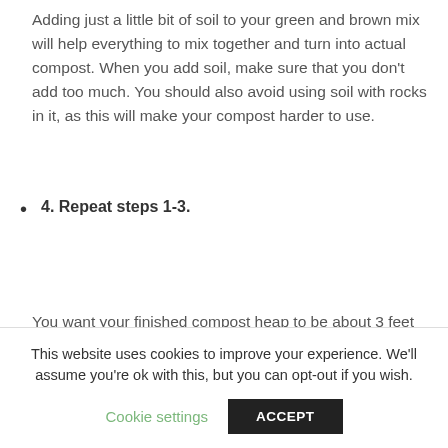Adding just a little bit of soil to your green and brown mix will help everything to mix together and turn into actual compost. When you add soil, make sure that you don't add too much. You should also avoid using soil with rocks in it, as this will make your compost harder to use.
4. Repeat steps 1-3.
You want your finished compost heap to be about 3 feet high, so that there is enough there for it to turn
This website uses cookies to improve your experience. We'll assume you're ok with this, but you can opt-out if you wish. Cookie settings ACCEPT